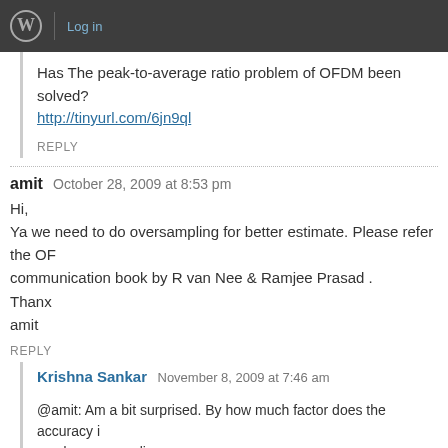Log in
Has The peak-to-average ratio problem of OFDM been solved?
http://tinyurl.com/6jn9ql
REPLY
amit   October 28, 2009 at 8:53 pm
Hi,
Ya we need to do oversampling for better estimate. Please refer the OFDM communication book by R van Nee & Ramjee Prasad .
Thanx
amit
REPLY
Krishna Sankar   November 8, 2009 at 7:46 am
@amit: Am a bit surprised. By how much factor does the accuracy improve if we do oversampling.